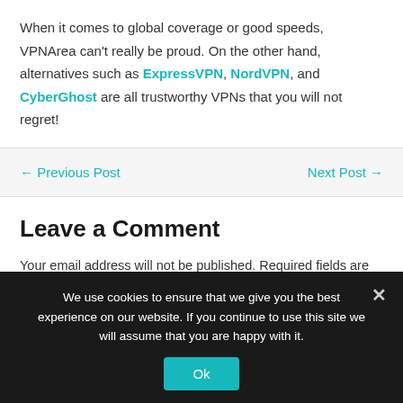When it comes to global coverage or good speeds, VPNArea can't really be proud. On the other hand, alternatives such as ExpressVPN, NordVPN, and CyberGhost are all trustworthy VPNs that you will not regret!
← Previous Post     Next Post →
Leave a Comment
Your email address will not be published. Required fields are marked *
We use cookies to ensure that we give you the best experience on our website. If you continue to use this site we will assume that you are happy with it.
Ok